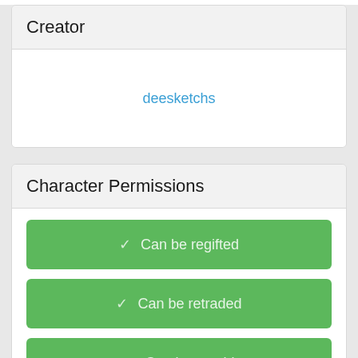Creator
deesketchs
Character Permissions
✓ Can be regifted
✓ Can be retraded
✓ Can be resold